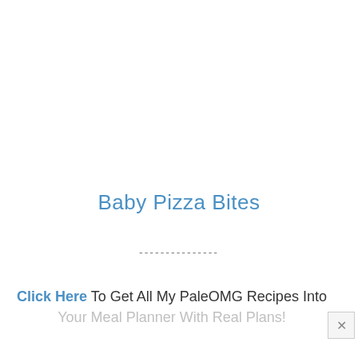Baby Pizza Bites
---------------
Click Here To Get All My PaleOMG Recipes Into Your Meal Planner With Real Plans!